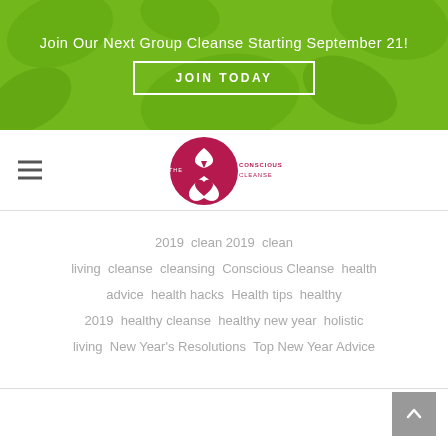Join Our Next Group Cleanse Starting September 21!
JOIN TODAY
[Figure (logo): The Conscious Cleanse logo — circular crimson/pink badge with white leaf and heart icon, with 'THE CONSCIOUS CLEANSE' text]
2019  clean 2019  clean  living  cleanse  cleansing  Conscious Cleanse  health advice  health hacks  Health tips  healthy 2019  healthy cleanse  healthy new year  holistic living  New Year's Resolutions  Top New Year Advice